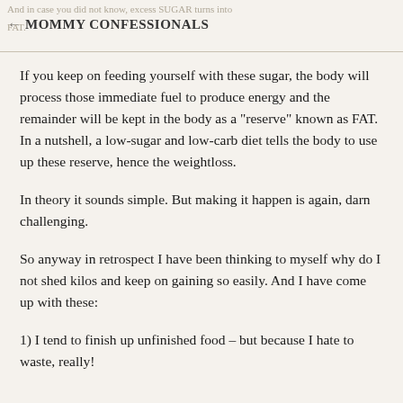And in case you did not know, excess SUGAR turns into FAT. ← MOMMY CONFESSIONALS
If you keep on feeding yourself with these sugar, the body will process those immediate fuel to produce energy and the remainder will be kept in the body as a "reserve" known as FAT. In a nutshell, a low-sugar and low-carb diet tells the body to use up these reserve, hence the weightloss.
In theory it sounds simple. But making it happen is again, darn challenging.
So anyway in retrospect I have been thinking to myself why do I not shed kilos and keep on gaining so easily. And I have come up with these:
1) I tend to finish up unfinished food – but because I hate to waste, really!